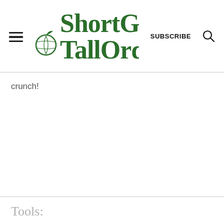ShortGirl TallOrder | SUBSCRIBE
crunch!
Tools: